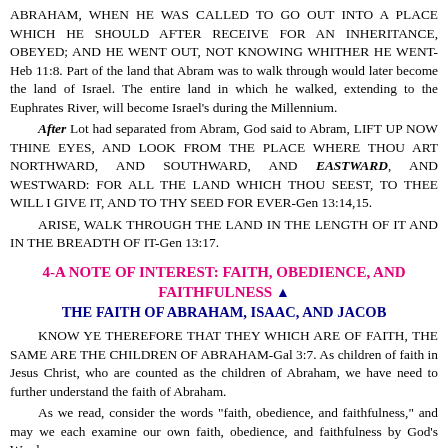ABRAHAM, WHEN HE WAS CALLED TO GO OUT INTO A PLACE WHICH HE SHOULD AFTER RECEIVE FOR AN INHERITANCE, OBEYED; AND HE WENT OUT, NOT KNOWING WHITHER HE WENT-Heb 11:8. Part of the land that Abram was to walk through would later become the land of Israel. The entire land in which he walked, extending to the Euphrates River, will become Israel's during the Millennium.
After Lot had separated from Abram, God said to Abram, LIFT UP NOW THINE EYES, AND LOOK FROM THE PLACE WHERE THOU ART NORTHWARD, AND SOUTHWARD, AND EASTWARD, AND WESTWARD: FOR ALL THE LAND WHICH THOU SEEST, TO THEE WILL I GIVE IT, AND TO THY SEED FOR EVER-Gen 13:14,15.
ARISE, WALK THROUGH THE LAND IN THE LENGTH OF IT AND IN THE BREADTH OF IT-Gen 13:17.
4-A NOTE OF INTEREST: FAITH, OBEDIENCE, AND FAITHFULNESS ▲
THE FAITH OF ABRAHAM, ISAAC, AND JACOB
KNOW YE THEREFORE THAT THEY WHICH ARE OF FAITH, THE SAME ARE THE CHILDREN OF ABRAHAM-Gal 3:7. As children of faith in Jesus Christ, who are counted as the children of Abraham, we have need to further understand the faith of Abraham.
As we read, consider the words "faith, obedience, and faithfulness," and may we each examine our own faith, obedience, and faithfulness by God's Word.
BUT WITHOUT FAITH IT IS IMPOSSIBLE TO PLEASE HIM (God): FOR HE THAT COMETH TO GOD MUST BELIEVE THAT HE IS, AND THAT HE IS A REWARDER OF THEM THAT DILIGENTLY SEEK HIM-Heb 11:6.
ABRAHAM BELIEVED GOD, AND IT WAS COUNTED UNTO HIM FOR